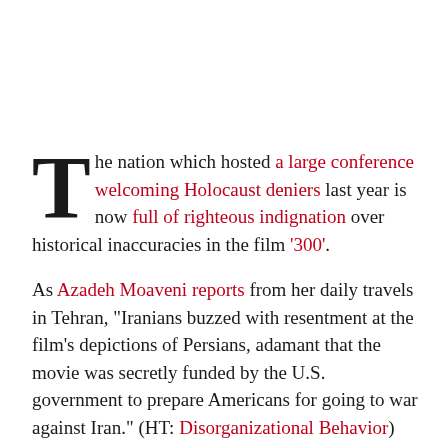The nation which hosted a large conference welcoming Holocaust deniers last year is now full of righteous indignation over historical inaccuracies in the film '300'.
As Azadeh Moaveni reports from her daily travels in Tehran, "Iranians buzzed with resentment at the film's depictions of Persians, adamant that the movie was secretly funded by the U.S. government to prepare Americans for going to war against Iran." (HT: Disorganizational Behavior)